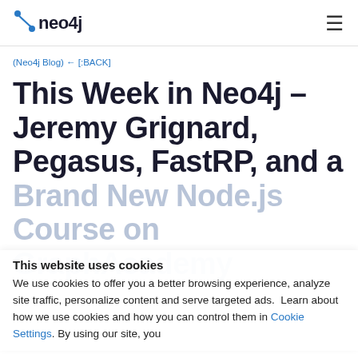[Figure (logo): Neo4j logo with blue arrow/node icon and 'neo4j' wordmark]
(Neo4j Blog) ← [:BACK]
This Week in Neo4j – Jeremy Grignard, Pegasus, FastRP, and a Brand New Node.js Course on GraphAcademy
This website uses cookies
We use cookies to offer you a better browsing experience, analyze site traffic, personalize content and serve targeted ads.  Learn about how we use cookies and how you can control them in Cookie Settings. By using our site, you